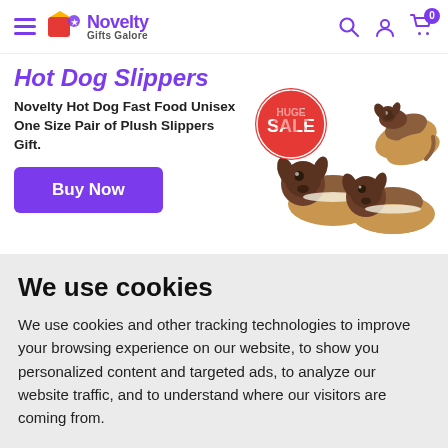Novelty Gifts Galore — navigation header with hamburger menu, logo, search, account, and cart icons
Hot Dog Slippers
Novelty Hot Dog Fast Food Unisex One Size Pair of Plush Slippers Gift.
[Figure (photo): HUGE SALE badge (red circular stamp) and product photo showing three hot dog slipper plush toys shaped like dachshund dogs in hot dog buns]
Buy Now
We use cookies
We use cookies and other tracking technologies to improve your browsing experience on our website, to show you personalized content and targeted ads, to analyze our website traffic, and to understand where our visitors are coming from.